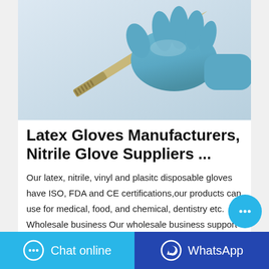[Figure (photo): A hand wearing a blue nitrile surgical glove holding a scalpel/surgical blade, on a light grey/white background.]
Latex Gloves Manufacturers, Nitrile Glove Suppliers ...
Our latex, nitrile, vinyl and plasitc disposable gloves have ISO, FDA and CE certifications,our products can use for medical, food, and chemical, dentistry etc. Wholesale business Our wholesale business support small quantity wholesale, even just have 100boxes also